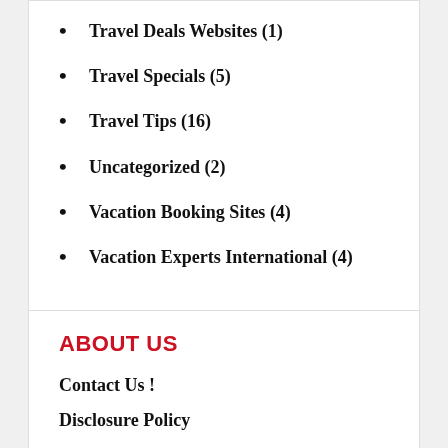Travel Deals Websites (1)
Travel Specials (5)
Travel Tips (16)
Uncategorized (2)
Vacation Booking Sites (4)
Vacation Experts International (4)
ABOUT US
Contact Us !
Disclosure Policy
Sitemap